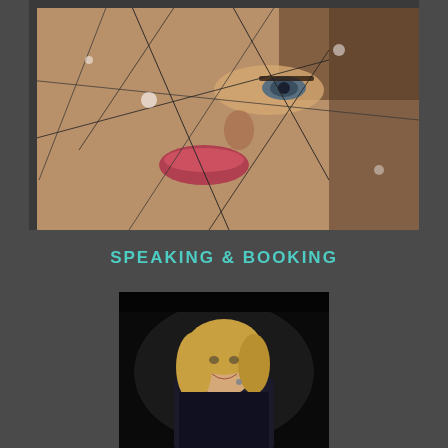[Figure (photo): Close-up photo of a woman's face viewed through shattered glass fragments, with warm skin tones and dramatic lighting]
SPEAKING & BOOKING
[Figure (photo): A blonde woman speaking on stage against a dark background, smiling and gesturing, wearing a dark jacket]